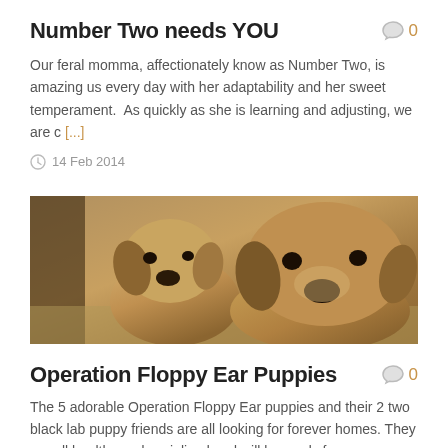Number Two needs YOU
0
Our feral momma, affectionately know as Number Two, is amazing us every day with her adaptability and her sweet temperament.  As quickly as she is learning and adjusting, we are c [...]
14 Feb 2014
[Figure (photo): Two tan/brown puppies with floppy ears looking at the camera]
Operation Floppy Ear Puppies
0
The 5 adorable Operation Floppy Ear puppies and their 2 two black lab puppy friends are all looking for forever homes. They are all healthy and socialized and will be ready for